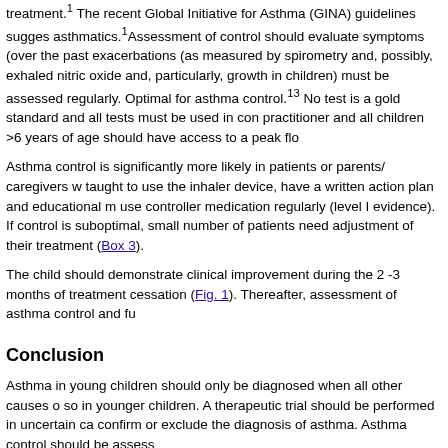treatment.1 The recent Global Initiative for Asthma (GINA) guidelines suggests asthmatics.1Assessment of control should evaluate symptoms (over the past exacerbations (as measured by spirometry and, possibly, exhaled nitric oxide and, particularly, growth in children) must be assessed regularly. Optimal form asthma control.13 No test is a gold standard and all tests must be used in co practitioner and all children >6 years of age should have access to a peak flo
Asthma control is significantly more likely in patients or parents/ caregivers w taught to use the inhaler device, have a written action plan and educational m use controller medication regularly (level I evidence). If control is suboptimal, small number of patients need adjustment of their treatment (Box 3).
The child should demonstrate clinical improvement during the 2 -3 months of treatment cessation (Fig. 1). Thereafter, assessment of asthma control and fu
Conclusion
Asthma in young children should only be diagnosed when all other causes o so in younger children. A therapeutic trial should be performed in uncertain ca confirm or exclude the diagnosis of asthma. Asthma control should be assess
Acknowledgements. We acknowledge the hard work and contribution of the (SACAWG) members. We also acknowledge the huge contribution of the late SACAWG guidelines.
Author contributions. RM: methodology, review, write-up and manuscript e editing; OPK, DA, HZ, GD: conceptualisation, methodology, write-up and ma manuscript editing; and PG: conceptualisation, methodology, write-up,